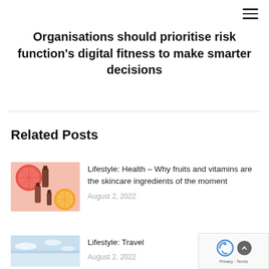Organisations should prioritise risk function's digital fitness to make smarter decisions
Related Posts
Lifestyle: Health – Why fruits and vitamins are the skincare ingredients of the moment
August 2, 2022
Lifestyle: Travel
August 2, 2022